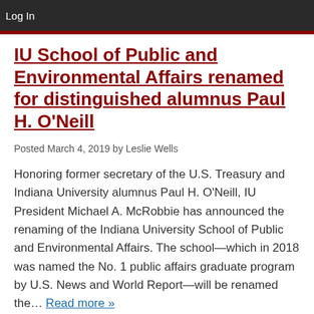Log In
IU School of Public and Environmental Affairs renamed for distinguished alumnus Paul H. O'Neill
Posted March 4, 2019 by Leslie Wells
Honoring former secretary of the U.S. Treasury and Indiana University alumnus Paul H. O'Neill, IU President Michael A. McRobbie has announced the renaming of the Indiana University School of Public and Environmental Affairs. The school—which in 2018 was named the No. 1 public affairs graduate program by U.S. News and World Report—will be renamed the… Read more »